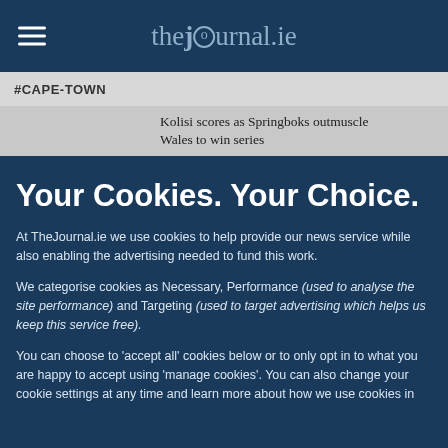thejournal.ie
#CAPE-TOWN
Kolisi scores as Springboks outmuscle Wales to win series
Your Cookies. Your Choice.
At TheJournal.ie we use cookies to help provide our news service while also enabling the advertising needed to fund this work.
We categorise cookies as Necessary, Performance (used to analyse the site performance) and Targeting (used to target advertising which helps us keep this service free).
You can choose to 'accept all' cookies below or to only opt in to what you are happy to accept using 'manage cookies'. You can also change your cookie settings at any time and learn more about how we use cookies in